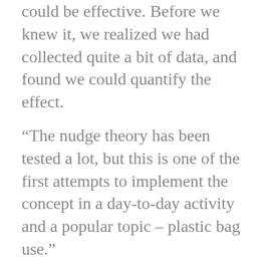could be effective. Before we knew it, we realized we had collected quite a bit of data, and found we could quantify the effect.
“The nudge theory has been tested a lot, but this is one of the first attempts to implement the concept in a day-to-day activity and a popular topic – plastic bag use.”
Hu conducted the study with his former graduate student, Jerrod Penn, now an assistant professor, and Penn’s current graduate student Sapana Bastola, both at Louisiana State University. The research i